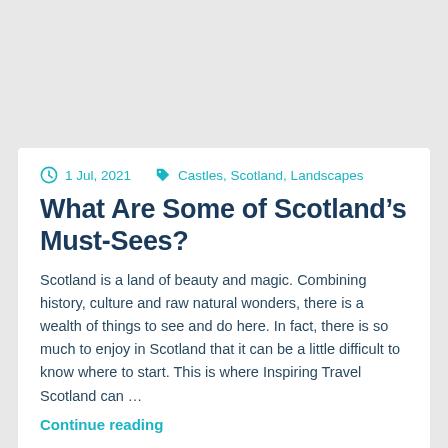1 Jul, 2021   Castles, Scotland, Landscapes
What Are Some of Scotland's Must-Sees?
Scotland is a land of beauty and magic. Combining history, culture and raw natural wonders, there is a wealth of things to see and do here. In fact, there is so much to enjoy in Scotland that it can be a little difficult to know where to start. This is where Inspiring Travel Scotland can …
Continue reading